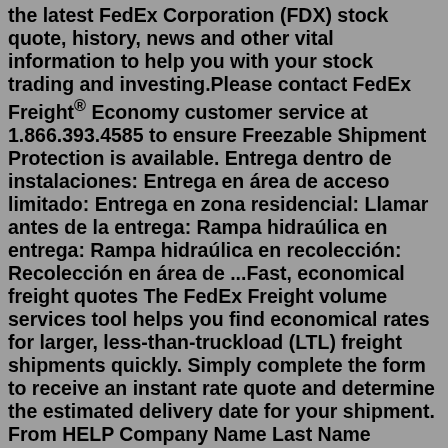the latest FedEx Corporation (FDX) stock quote, history, news and other vital information to help you with your stock trading and investing.Please contact FedEx Freight® Economy customer service at 1.866.393.4585 to ensure Freezable Shipment Protection is available. Entrega dentro de instalaciones: Entrega en área de acceso limitado: Entrega en zona residencial: Llamar antes de la entrega: Rampa hidraúlica en entrega: Rampa hidraúlica en recolección: Recolección en área de ...Fast, economical freight quotes The FedEx Freight volume services tool helps you find economical rates for larger, less-than-truckload (LTL) freight shipments quickly. Simply complete the form to receive an instant rate quote and determine the estimated delivery date for your shipment. From HELP Company Name Last Name Country Address * CityFedEx® International Connect. FedEx International Connect is a flexible worldwide delivery solution designed with international e-commerce in mind. Offering end-to-end visibility* and our single